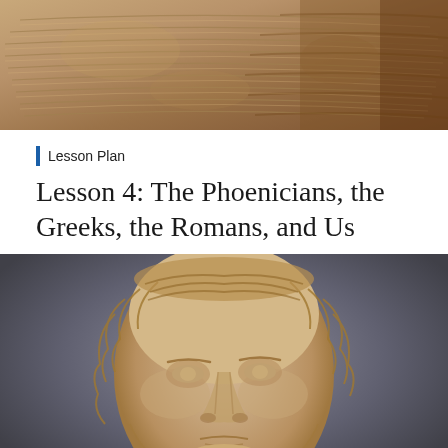[Figure (photo): Close-up photo of an ancient carved stone artifact showing horizontal ridged or rope-like patterns, brownish-tan in color, possibly a Phoenician or ancient Mediterranean carved vessel or relief.]
Lesson Plan
Lesson 4: The Phoenicians, the Greeks, the Romans, and Us
[Figure (photo): Close-up photo of a marble or stone sculpture of a human face, likely ancient Greek or Roman, showing detailed carved features including wavy hair, calm expression with slightly parted lips, against a gray background.]